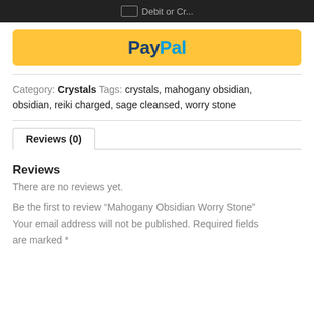[Figure (screenshot): Top black bar with card icon and 'Debit or Cr...' text (partially visible)]
[Figure (logo): PayPal yellow button with PayPal logo in dark blue and light blue]
Category: Crystals Tags: crystals, mahogany obsidian, obsidian, reiki charged, sage cleansed, worry stone
Reviews (0)
Reviews
There are no reviews yet.
Be the first to review "Mahogany Obsidian Worry Stone" Your email address will not be published. Required fields are marked *